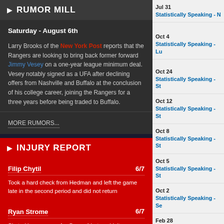▶ RUMOR MILL
Saturday - August 6th
Larry Brooks of the New York Post reports that the Rangers are looking to bring back former forward Jimmy Vesey on a one-year league minimum deal. Vesey notably signed as a UFA after declining offers from Nashville and Buffalo at the conclusion of his college career, joining the Rangers for a three years before being traded to Buffalo.
MORE RUMORS...
▶ INJURY REPORT
Filip Chytil  6/7
Took a hard check from Hedman and left the game late in the second period and did not return
Ryan Strome  6/7
Skated in warm-ups for Game 4 but couldn't go
Sammy Blais  5/18
Skated for the first time, but is still probably at least a
Jul 31  Statistically Speaking - N...
Oct 4   Statistically Speaking - L...
Oct 24  Statistically Speaking - St...
Oct 12  Statistically Speaking - St...
Oct 8   Statistically Speaking - St...
Oct 5   Statistically Speaking - St...
Oct 2   Statistically Speaking - Se...
Feb 28  Statistically Speaking - B...
Oct 5   Statistically Speaking - O...
Nov 14  Statistically Speaking - It'...
Nov 1   Statistically Speaking - A...
Jan 21  Statistically Speaking - Bl...
Oct 17  Statistically Speaking - A...